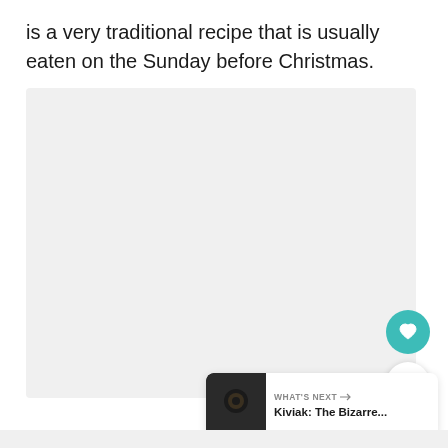is a very traditional recipe that is usually eaten on the Sunday before Christmas.
[Figure (photo): Large placeholder image area with light gray background]
[Figure (infographic): Heart/favorite button (teal circle with heart icon) and share button (white circle with share icon), and 'WHAT'S NEXT' card showing 'Kiviak: The Bizarre...' with a dark thumbnail image]